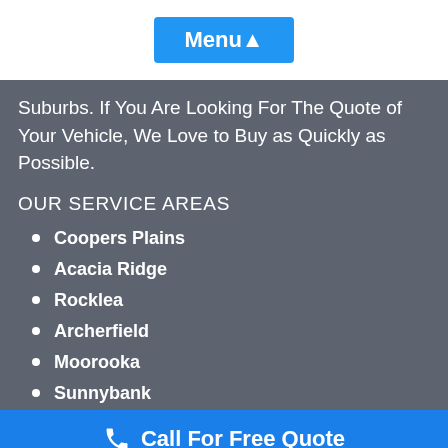Menu☰
Suburbs. If You Are Looking For The Quote of Your Vehicle, We Love to Buy as Quickly as Possible.
OUR SERVICE AREAS
Coopers Plains
Acacia Ridge
Rocklea
Archerfield
Moorooka
Sunnybank
Call For Free Quote